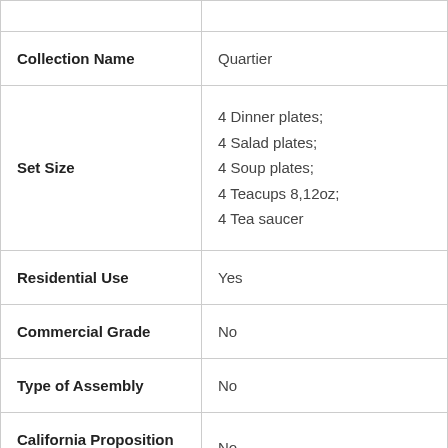| Attribute | Value |
| --- | --- |
| Collection Name | Quartier |
| Set Size | 4 Dinner plates;
4 Salad plates;
4 Soup plates;
4 Teacups 8,12oz;
4 Tea saucer |
| Residential Use | Yes |
| Commercial Grade | No |
| Type of Assembly | No |
| California Proposition 65 Warning | No |